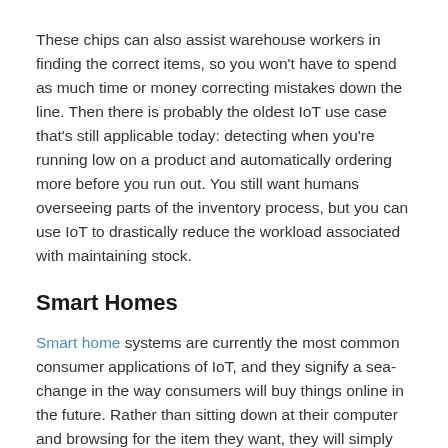These chips can also assist warehouse workers in finding the correct items, so you won't have to spend as much time or money correcting mistakes down the line. Then there is probably the oldest IoT use case that's still applicable today: detecting when you're running low on a product and automatically ordering more before you run out. You still want humans overseeing parts of the inventory process, but you can use IoT to drastically reduce the workload associated with maintaining stock.
Smart Homes
Smart home systems are currently the most common consumer applications of IoT, and they signify a sea-change in the way consumers will buy things online in the future. Rather than sitting down at their computer and browsing for the item they want, they will simply tell their assistant to buy it.